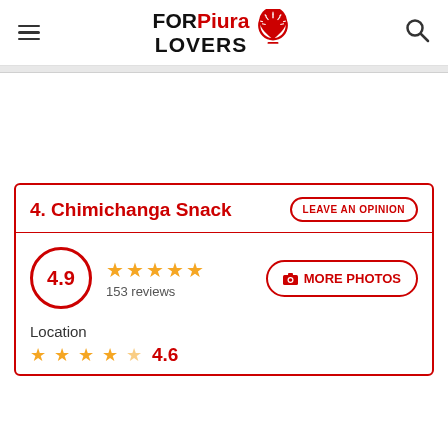FORPiura LOVERS
4. Chimichanga Snack
4.9 ★★★★★ 153 reviews
Location ★★★★☆ 4.6